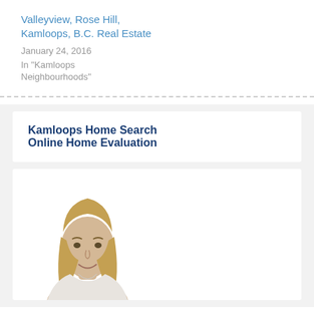Valleyview, Rose Hill, Kamloops, B.C. Real Estate
January 24, 2016
In "Kamloops Neighbourhoods"
Kamloops Home Search
Online Home Evaluation
[Figure (photo): Headshot of a woman with blonde straight hair, smiling, wearing a light-colored top]